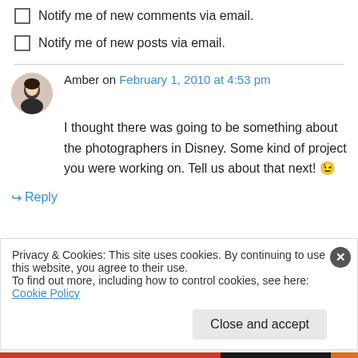Notify me of new comments via email.
Notify me of new posts via email.
Amber on February 1, 2010 at 4:53 pm
I thought there was going to be something about the photographers in Disney. Some kind of project you were working on. Tell us about that next! 😉
↳ Reply
Privacy & Cookies: This site uses cookies. By continuing to use this website, you agree to their use.
To find out more, including how to control cookies, see here: Cookie Policy
Close and accept